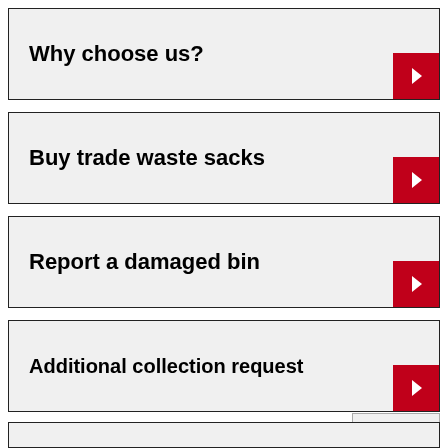Why choose us?
Buy trade waste sacks
Report a damaged bin
Additional collection request